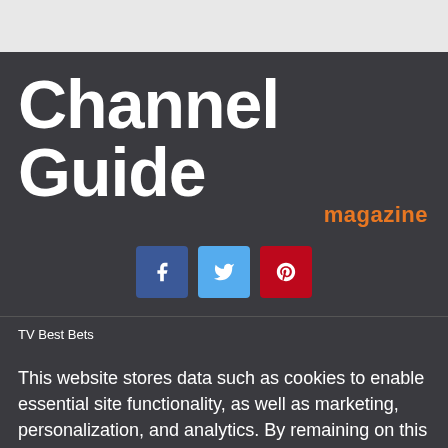[Figure (logo): Channel Guide magazine logo on dark background with orange 'magazine' subtitle]
[Figure (infographic): Social media icons: Facebook (blue), Twitter (light blue), Pinterest (red)]
TV Best Bets
This website stores data such as cookies to enable essential site functionality, as well as marketing, personalization, and analytics. By remaining on this website you indicate your consent. Privacy Policy